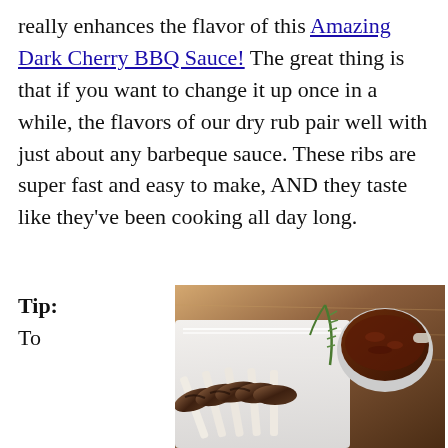really enhances the flavor of this Amazing Dark Cherry BBQ Sauce! The great thing is that if you want to change it up once in a while, the flavors of our dry rub pair well with just about any barbeque sauce. These ribs are super fast and easy to make, AND they taste like they've been cooking all day long.
Tip: To
[Figure (photo): Photo of grilled ribs on a white rectangular serving plate with a small ceramic bowl of dark BBQ sauce and a sprig of rosemary on a wooden surface]